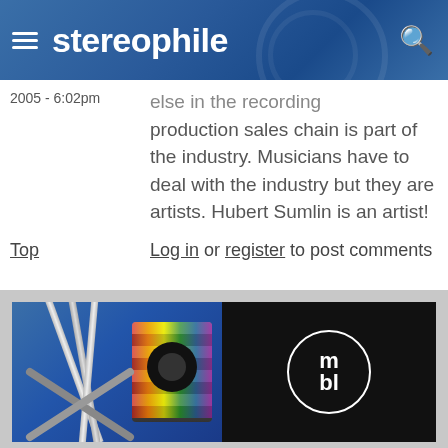stereophile
else in the recording production sales chain is part of the industry. Musicians have to deal with the industry but they are artists. Hubert Sumlin is an artist!
2005 - 6:02pm
Top  Log in or register to post comments
[Figure (photo): Advertisement banner showing audio speaker/turntable equipment on the left and the mbl logo (circle with letters m b l) on a black background on the right]